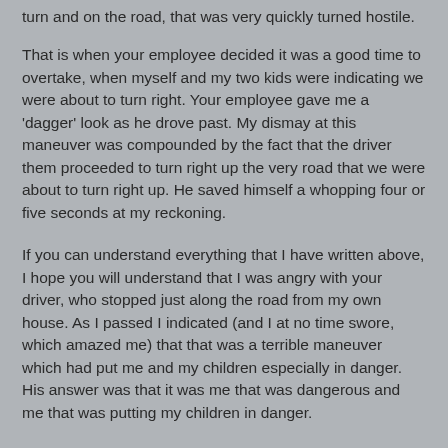turn and on the road, that was very quickly turned hostile.
That is when your employee decided it was a good time to overtake, when myself and my two kids were indicating we were about to turn right. Your employee gave me a 'dagger' look as he drove past. My dismay at this maneuver was compounded by the fact that the driver them proceeded to turn right up the very road that we were about to turn right up. He saved himself a whopping four or five seconds at my reckoning.
If you can understand everything that I have written above, I hope you will understand that I was angry with your driver, who stopped just along the road from my own house. As I passed I indicated (and I at no time swore, which amazed me) that that was a terrible maneuver which had put me and my children especially in danger. His answer was that it was me that was dangerous and me that was putting my children in danger.
I took my kids back to the house and returned to speak to the driver. My intent was only to get his name. He refused to provide me with his name. He and I went on to discuss the